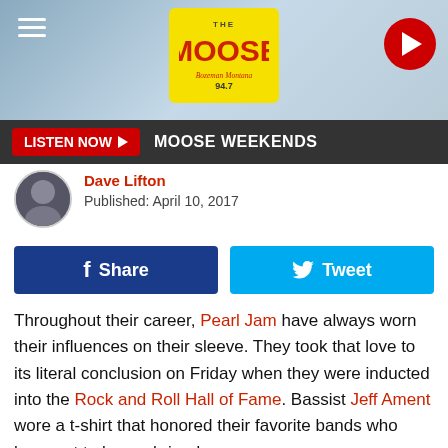THE MOOSE 94.7 Bozeman Montana
LISTEN NOW  MOOSE WEEKENDS
Dave Lifton
Published: April 10, 2017
Share  Tweet
Throughout their career, Pearl Jam have always worn their influences on their sleeve. They took that love to its literal conclusion on Friday when they were inducted into the Rock and Roll Hall of Fame. Bassist Jeff Ament wore a t-shirt that honored their favorite bands who have yet to be enshrined.

The shirt was an extension of Ament's acceptance speech where, in addition to thanking "Neil [Young], the Clash, [Led] Zeppelin, the Stooges, Cheap Trick" – all of whom are in the